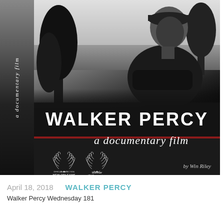[Figure (photo): Movie poster for 'Walker Percy: a documentary film' by Win Riley. Black and white photo of a man with arms crossed standing outdoors near trees and water. Left spine reads 'a documentary film' vertically. Center banner reads 'WALKER PERCY' in large white letters on dark background. Below a red dividing line, italic text reads 'a documentary film'. Two award laurels shown: New Orleans Film Festival Official Selection 2018, and Winner IEH Documentary Film of the Year. Text 'by Win Riley' at right.]
April 18, 2018    WALKER PERCY
Walker Percy Wednesday 181